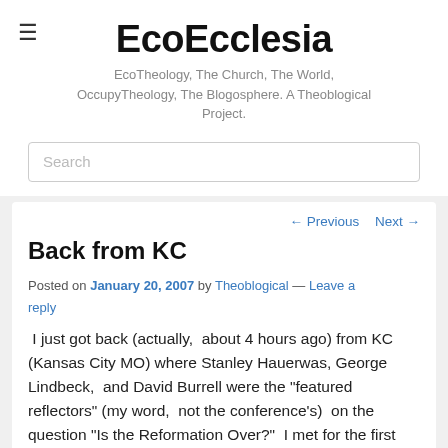EcoEcclesia
EcoTheology, The Church, The World, OccupyTheology, The Blogosphere. A Theoblogical Project.
Search
Back from KC
Posted on January 20, 2007 by Theoblogical — Leave a reply
I just got back (actually,  about 4 hours ago) from KC (Kansas City MO) where Stanley Hauerwas, George Lindbeck,  and David Burrell were the “featured reflectors” (my word,  not the conference’s)  on the question “Is the Reformation Over?”  I met for the first time FTF,  Eric Lee,